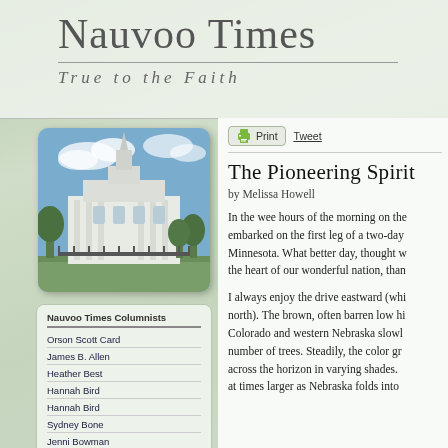Nauvoo Times
True to the Faith
[Figure (photo): Photo of the Nauvoo Illinois Temple, a white building with a spire, surrounded by trees and blue sky]
Nauvoo Times Columnists
Orson Scott Card
James B. Allen
Heather Best
Hannah Bird
Hannah Bird
Sydney Bone
Jenni Bowman
Ami Chopine
College Voices
The Pioneering Spirit
by Melissa Howell
In the wee hours of the morning on the... embarked on the first leg of a two-day... Minnesota. What better day, thought w... the heart of our wonderful nation, than...
I always enjoy the drive eastward (whi... north). The brown, often barren low hi... Colorado and western Nebraska slowl... number of trees. Steadily, the color gr... across the horizon in varying shades.... at times larger as Nebraska folds into...